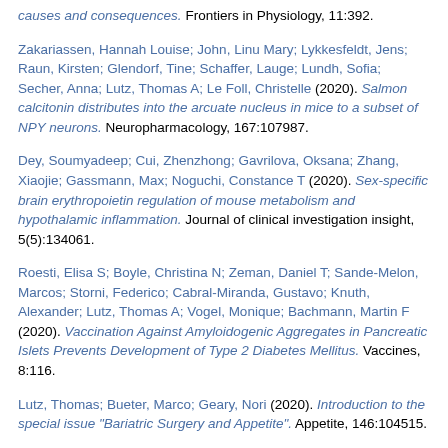causes and consequences. Frontiers in Physiology, 11:392.
Zakariassen, Hannah Louise; John, Linu Mary; Lykkesfeldt, Jens; Raun, Kirsten; Glendorf, Tine; Schaffer, Lauge; Lundh, Sofia; Secher, Anna; Lutz, Thomas A; Le Foll, Christelle (2020). Salmon calcitonin distributes into the arcuate nucleus in mice to a subset of NPY neurons. Neuropharmacology, 167:107987.
Dey, Soumyadeep; Cui, Zhenzhong; Gavrilova, Oksana; Zhang, Xiaojie; Gassmann, Max; Noguchi, Constance T (2020). Sex-specific brain erythropoietin regulation of mouse metabolism and hypothalamic inflammation. Journal of clinical investigation insight, 5(5):134061.
Roesti, Elisa S; Boyle, Christina N; Zeman, Daniel T; Sande-Melon, Marcos; Storni, Federico; Cabral-Miranda, Gustavo; Knuth, Alexander; Lutz, Thomas A; Vogel, Monique; Bachmann, Martin F (2020). Vaccination Against Amyloidogenic Aggregates in Pancreatic Islets Prevents Development of Type 2 Diabetes Mellitus. Vaccines, 8:116.
Lutz, Thomas; Bueter, Marco; Geary, Nori (2020). Introduction to the special issue "Bariatric Surgery and Appetite". Appetite, 146:104515.